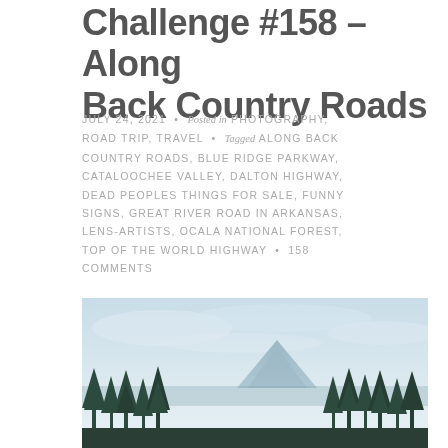Challenge #158 – Along Back Country Roads
JULY 24, 2021 • Posted in PHOTOGRAPHY, ROAD TRIP, TRAVEL • Tagged ALONG BACK COUNTRY ROADS, BLUE RIDGE PARKWAY, CATALOOCHEE VALLEY, DALTON HIGHWAY, DEAD PEOPLES THINGS FOR SALE, FUNNY SIGNS, GREAT RIVER ROAD IN ARKANSAS, LENS-ARTISTS, OCALA NATIONAL FOREST, TOP OF THE WORLD HIGHWAY • 158 COMMENTS
[Figure (photo): Landscape photo showing a misty mountain scene with silhouetted evergreen trees in the foreground and a mountain peak in the background under a pale blue sky.]